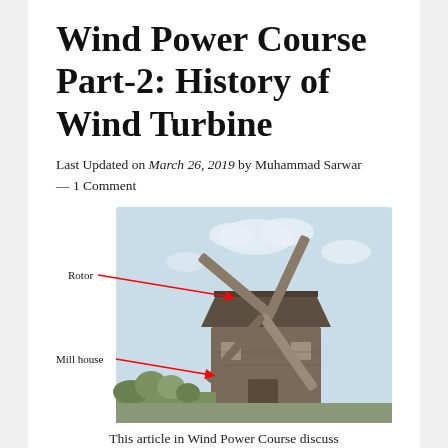Wind Power Course Part-2: History of Wind Turbine
Last Updated on March 26, 2019 by Muhammad Sarwar — 1 Comment
[Figure (photo): Photograph of a traditional wooden windmill with rotor blades and mill house labeled with red arrows. 'Rotor' label points to the blade assembly at top, 'Mill house' label points to the wooden structure body.]
This article in Wind Power Course discuss